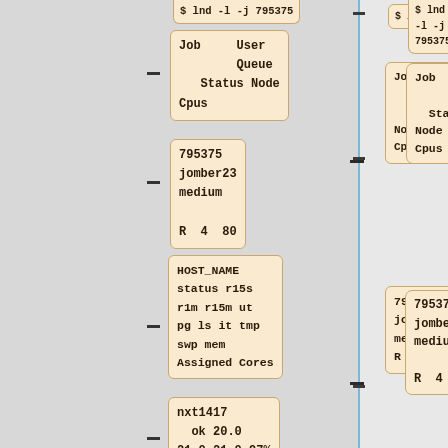$ lnd -l -j 795375
Job   User
       Queue
  Status Node
Cpus
795375
jomber23
medium
R  4  80
HOST_NAME
status r15s
r1m r15m  ut
pg ls  it  tmp
swp  mem
Assigned Cores
nxt1417
ok 20.0
21.0  21.0 97%
0.0  0 94976